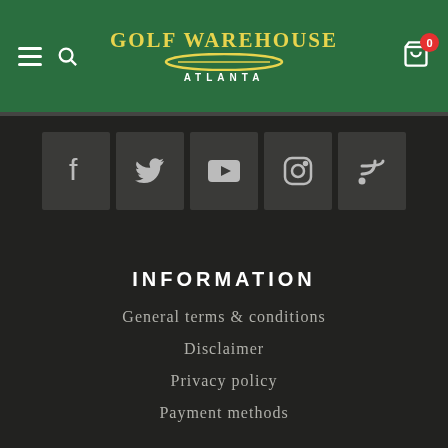Golf Warehouse Atlanta
[Figure (infographic): Social media icons row: Facebook, Twitter, YouTube, Instagram, RSS feed]
INFORMATION
General terms & conditions
Disclaimer
Privacy policy
Payment methods
Return Policy
Customer support
Sitemap